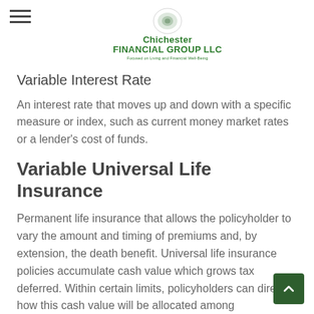Chichester Financial Group LLC — Focused on Living and Financial Well-Being
Variable Interest Rate
An interest rate that moves up and down with a specific measure or index, such as current money market rates or a lender's cost of funds.
Variable Universal Life Insurance
Permanent life insurance that allows the policyholder to vary the amount and timing of premiums and, by extension, the death benefit. Universal life insurance policies accumulate cash value which grows tax deferred. Within certain limits, policyholders can direct how this cash value will be allocated among subaccounts offered within the policy. Several factors will affect the cost and availability of life insurance, including age, health, and the